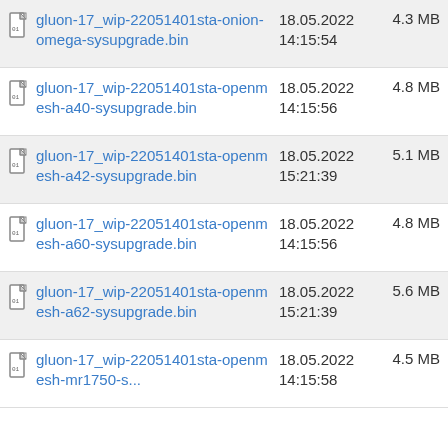gluon-17_wip-22051401sta-onion-omega-sysupgrade.bin  18.05.2022 14:15:54  4.3 MB
gluon-17_wip-22051401sta-openmesh-a40-sysupgrade.bin  18.05.2022 14:15:56  4.8 MB
gluon-17_wip-22051401sta-openmesh-a42-sysupgrade.bin  18.05.2022 15:21:39  5.1 MB
gluon-17_wip-22051401sta-openmesh-a60-sysupgrade.bin  18.05.2022 14:15:56  4.8 MB
gluon-17_wip-22051401sta-openmesh-a62-sysupgrade.bin  18.05.2022 15:21:39  5.6 MB
gluon-17_wip-22051401sta-openmesh-mr1750-...  18.05.2022 14:15:58  4.5 MB